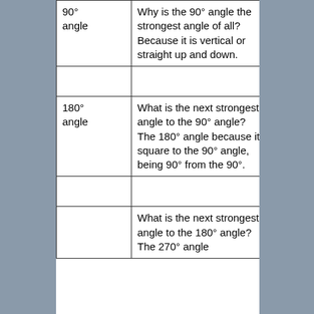| 90°
angle | Why is the 90° angle the strongest angle of all?
Because it is vertical or straight up and down. |
|  |  |
| 180°
angle | What is the next strongest angle to the 90° angle?
The 180° angle because it is square to the 90° angle, being 90° from the 90°. |
|  |  |
|  | What is the next strongest angle to the 180° angle?
The 270° angle |